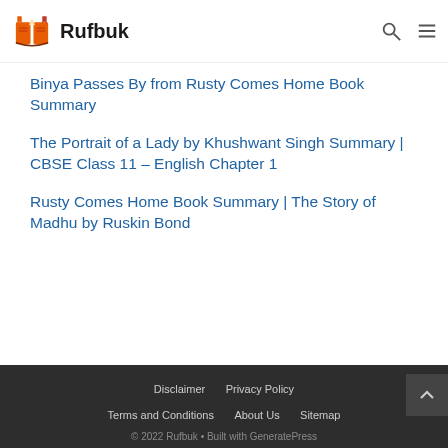Rufbuk
Binya Passes By from Rusty Comes Home Book Summary
The Portrait of a Lady by Khushwant Singh Summary | CBSE Class 11 – English Chapter 1
Rusty Comes Home Book Summary | The Story of Madhu by Ruskin Bond
Disclaimer  Privacy Policy  Terms and Conditions  About Us  Sitemap  © 2022 Rufbuk • Built with GeneratePress